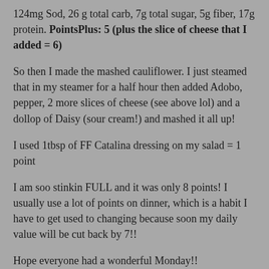124mg Sod, 26 g total carb, 7g total sugar, 5g fiber, 17g protein. PointsPlus: 5 (plus the slice of cheese that I added = 6)
So then I made the mashed cauliflower. I just steamed that in my steamer for a half hour then added Adobo, pepper, 2 more slices of cheese (see above lol) and a dollop of Daisy (sour cream!) and mashed it all up!
I used 1tbsp of FF Catalina dressing on my salad = 1 point
I am soo stinkin FULL and it was only 8 points! I usually use a lot of points on dinner, which is a habit I have to get used to changing because soon my daily value will be cut back by 7!!
Hope everyone had a wonderful Monday!!
1 comment:
Share